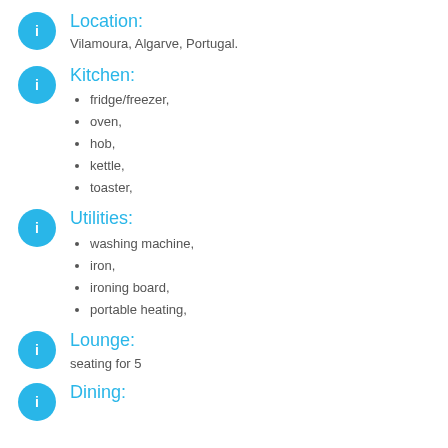Location:
Vilamoura, Algarve, Portugal.
Kitchen:
fridge/freezer,
oven,
hob,
kettle,
toaster,
Utilities:
washing machine,
iron,
ironing board,
portable heating,
Lounge:
seating for 5
Dining: